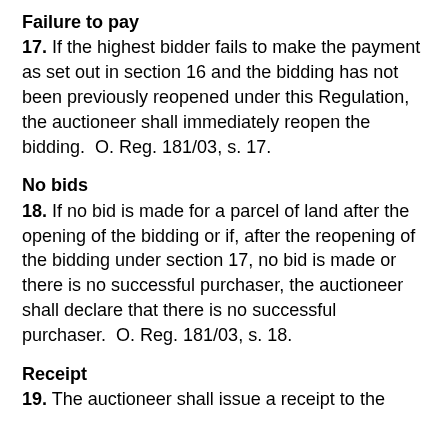Failure to pay
17. If the highest bidder fails to make the payment as set out in section 16 and the bidding has not been previously reopened under this Regulation, the auctioneer shall immediately reopen the bidding.  O. Reg. 181/03, s. 17.
No bids
18. If no bid is made for a parcel of land after the opening of the bidding or if, after the reopening of the bidding under section 17, no bid is made or there is no successful purchaser, the auctioneer shall declare that there is no successful purchaser.  O. Reg. 181/03, s. 18.
Receipt
19. The auctioneer shall issue a receipt to the